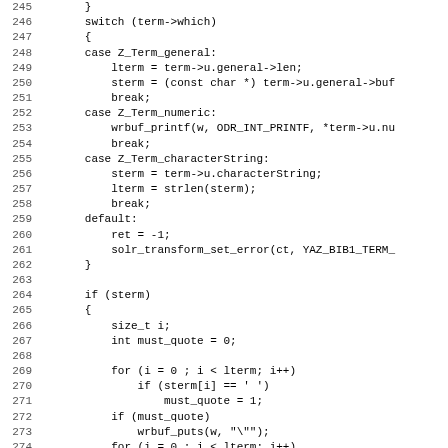[Figure (screenshot): Source code listing in C showing a switch statement handling Z_Term_general, Z_Term_numeric, Z_Term_characterString, and default cases, followed by an if(sterm) block with loops for quoting logic. Lines numbered 245-276.]